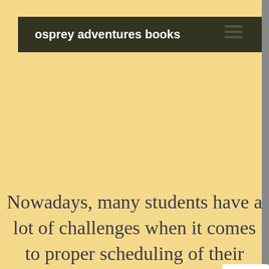osprey adventures books
[Figure (other): White rounded rectangle placeholder image]
Nowadays, many students have a lot of challenges when it comes to proper scheduling of their school work and assignments. This is probably because they have to juggle